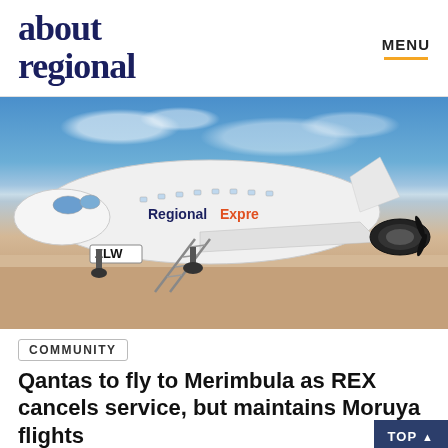about regional
[Figure (photo): Regional Express (REX) aircraft with registration ZLW on a red-dirt outback airstrip under a blue sky with clouds. Boarding stairs are deployed. The fuselage shows 'Regional Express' livery.]
COMMUNITY
Qantas to fly to Merimbula as REX cancels service, but maintains Moruya flights
Bounce Malcolm duced that the she she she service uti...